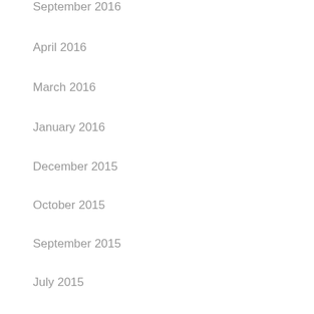September 2016
April 2016
March 2016
January 2016
December 2015
October 2015
September 2015
July 2015
June 2015
May 2015
April 2015
March 2015
February 2015
January 2015
December 2014